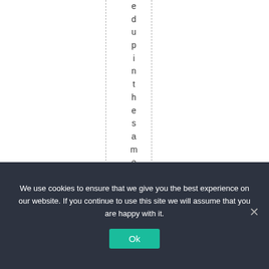[Figure (other): White page with two vertical dashed lines and vertically-oriented text reading 'edupinthesameinter' character by character in the center column between the dashed lines]
We use cookies to ensure that we give you the best experience on our website. If you continue to use this site we will assume that you are happy with it.
Ok